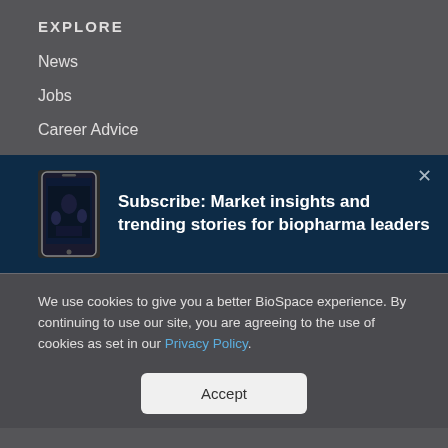EXPLORE
News
Jobs
Career Advice
[Figure (infographic): Subscribe banner with phone image and text: Subscribe: Market insights and trending stories for biopharma leaders]
We use cookies to give you a better BioSpace experience. By continuing to use our site, you are agreeing to the use of cookies as set in our Privacy Policy.
Accept